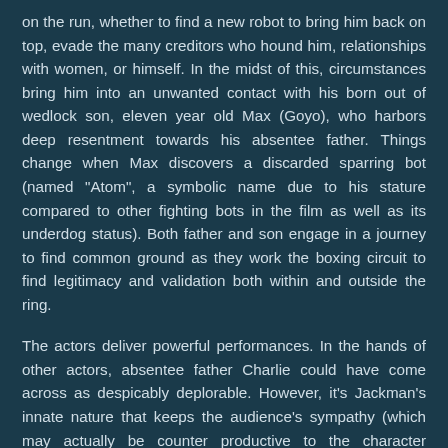on the run, whether to find a new robot to bring him back on top, evade the many creditors who hound him, relationships with women, or himself. In the midst of this, circumstances bring him into an unwanted contact with his born out of wedlock son, eleven year old Max (Goyo), who harbors deep resentment towards his absentee father. Things change when Max discovers a discarded sparring bot (named "Atom", a symbolic name due to his stature compared to other fighting bots in the film as well as its underdog status). Both father and son engage in a journey to find common ground as they work the boxing circuit to find legitimacy and validation both within and outside the ring.
The actors deliver powerful performances. In the hands of other actors, absentee father Charlie could have come across as despicably deplorable. However, it's Jackman's innate nature that keeps the audience's sympathy (which may actually be counter productive to the character development, as the further "into the moral depths" a character falls, the greater the redemption if achieved). He brings an everyman's sensibility and carries the weight of failed hopes and dreams well, though mixed with